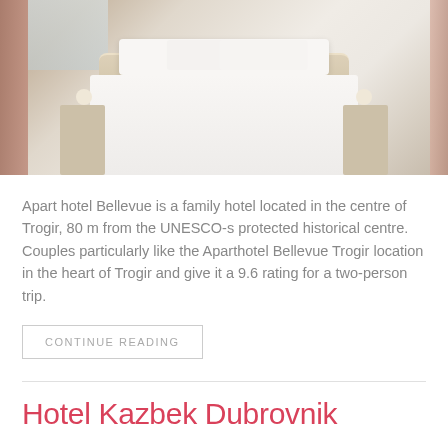[Figure (photo): Hotel room interior showing a double bed with white linens and a tufted headboard, flanked by nightstands with round lamps, pink curtains visible on the left, balcony in background]
Apart hotel Bellevue is a family hotel located in the centre of Trogir, 80 m from the UNESCO-s protected historical centre. Couples particularly like the Aparthotel Bellevue Trogir location in the heart of Trogir and give it a 9.6 rating for a two-person trip.
CONTINUE READING
Hotel Kazbek Dubrovnik